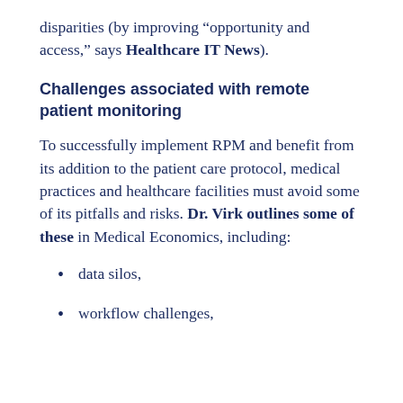disparities (by improving “opportunity and access,” says Healthcare IT News).
Challenges associated with remote patient monitoring
To successfully implement RPM and benefit from its addition to the patient care protocol, medical practices and healthcare facilities must avoid some of its pitfalls and risks. Dr. Virk outlines some of these in Medical Economics, including:
data silos,
workflow challenges,